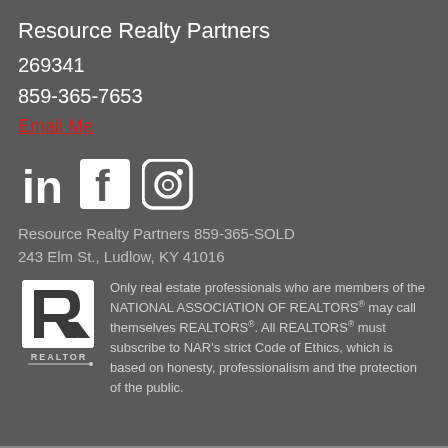Resource Realty Partners
269341
859-365-7653
Email Me
[Figure (logo): Social media icons: LinkedIn, Facebook, Instagram]
Resource Realty Partners 859-365-SOLD
243 Elm St., Ludlow, KY 41016
[Figure (logo): REALTOR logo with R symbol and text REALTOR below]
Only real estate professionals who are members of the NATIONAL ASSOCIATION OF REALTORS® may call themselves REALTORS®. All REALTORS® must subscribe to NAR's strict Code of Ethics, which is based on honesty, professionalism and the protection of the public.